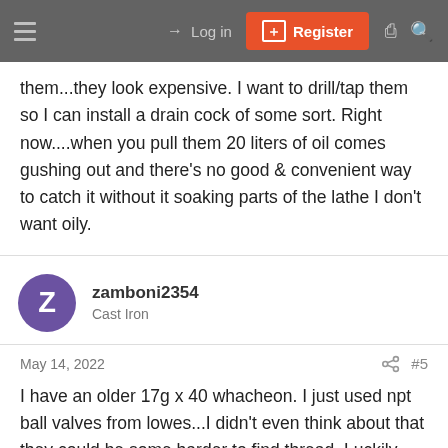Log in | Register
them...they look expensive. I want to drill/tap them so I can install a drain cock of some sort. Right now....when you pull them 20 liters of oil comes gushing out and there's no good & convenient way to catch it without it soaking parts of the lathe I don't want oily.
zamboni2354
Cast Iron
May 14, 2022
#5
I have an older 17g x 40 whacheon. I just used npt ball valves from lowes...I didn't even think about that they could be some harder to find thread. Luckily they threaded in fine. I'll have to check the plugs next time I'm out in the shop.